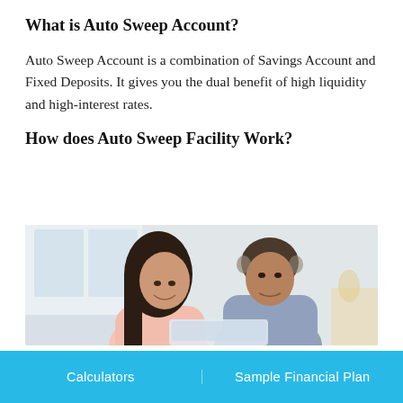What is Auto Sweep Account?
Auto Sweep Account is a combination of Savings Account and Fixed Deposits. It gives you the dual benefit of high liquidity and high-interest rates.
How does Auto Sweep Facility Work?
[Figure (photo): A man and woman couple looking at a laptop or document together in a bright kitchen/home setting, smiling.]
Calculators | Sample Financial Plan